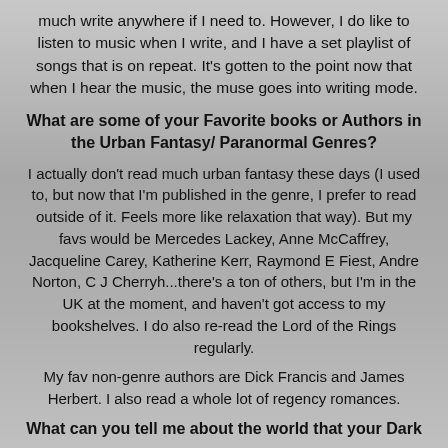much write anywhere if I need to. However, I do like to listen to music when I write, and I have a set playlist of songs that is on repeat. It's gotten to the point now that when I hear the music, the muse goes into writing mode.
What are some of your Favorite books or Authors in the Urban Fantasy/ Paranormal Genres?
I actually don't read much urban fantasy these days (I used to, but now that I'm published in the genre, I prefer to read outside of it. Feels more like relaxation that way). But my favs would be Mercedes Lackey, Anne McCaffrey, Jacqueline Carey, Katherine Kerr, Raymond E Fiest, Andre Norton, C J Cherryh...there's a ton of others, but I'm in the UK at the moment, and haven't got access to my bookshelves. I do also re-read the Lord of the Rings regularly.
My fav non-genre authors are Dick Francis and James Herbert. I also read a whole lot of regency romances.
What can you tell me about the world that your Dark